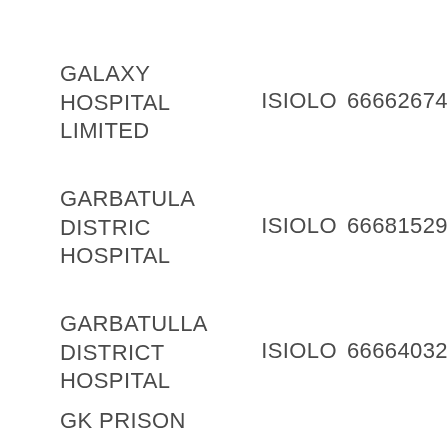GALAXY HOSPITAL LIMITED    ISIOLO    66662674
GARBATULA DISTRIC HOSPITAL    ISIOLO    66681529
GARBATULLA DISTRICT HOSPITAL    ISIOLO    66664032
GK PRISON